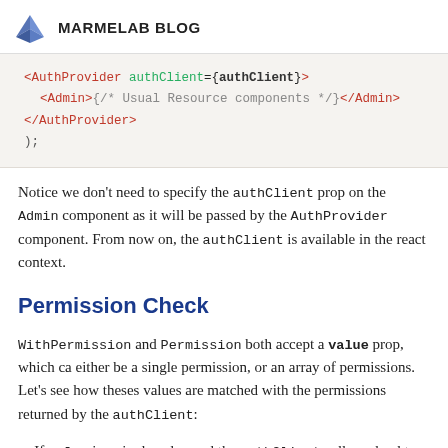MARMELAB BLOG
[Figure (screenshot): Code block showing JSX with AuthProvider wrapping Admin component]
Notice we don't need to specify the authClient prop on the Admin component as it will be passed by the AuthProvider component. From now on, the authClient is available in the react context.
Permission Check
WithPermission and Permission both accept a value prop, which ca either be a single permission, or an array of permissions. Let's see how theses values are matched with the permissions returned by the authClient:
If value is a single value and the authClient call resolved to